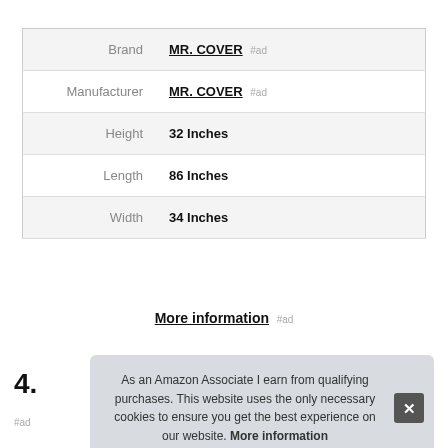|  |  |
| --- | --- |
| Brand | MR. COVER #ad |
| Manufacturer | MR. COVER #ad |
| Height | 32 Inches |
| Length | 86 Inches |
| Width | 34 Inches |
More information #ad
4.
As an Amazon Associate I earn from qualifying purchases. This website uses the only necessary cookies to ensure you get the best experience on our website. More information
#ad